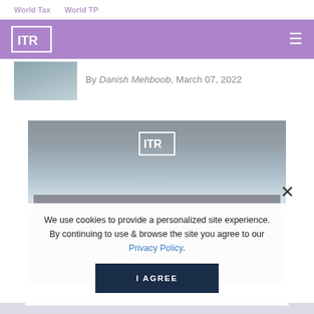World Tax    World TP
[Figure (logo): ITR logo white on purple header bar with hamburger menu icon]
By Danish Mehboob, March 07, 2022
[Figure (photo): Article thumbnail image - teal/blue gradient background]
[Figure (infographic): ITR Global Transfer Pricing Forum USA advertisement banner with ITR logo, dark overlay band with text 'ITR GLOBAL TRANSFER PRICING FORUM USA', 'REGISTER TODAY', '#TPFORUMDC' hashtag]
We use cookies to provide a personalized site experience. By continuing to use & browse the site you agree to our Privacy Policy.
[Figure (other): I AGREE button - dark navy blue button]